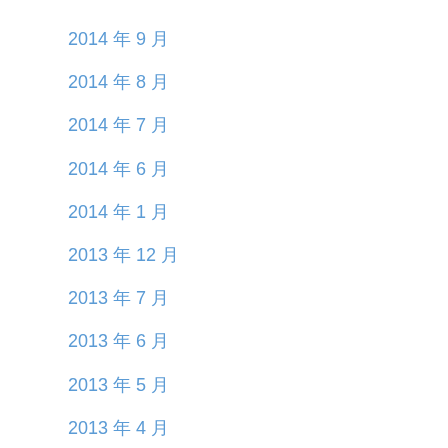2014 年 9 月
2014 年 8 月
2014 年 7 月
2014 年 6 月
2014 年 1 月
2013 年 12 月
2013 年 7 月
2013 年 6 月
2013 年 5 月
2013 年 4 月
2013 年 3 月
2013 年 2 月